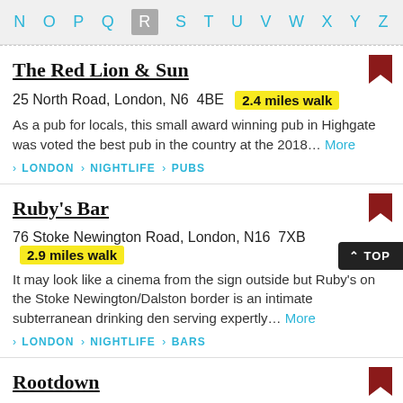N O P Q R S T U V W X Y Z
The Red Lion & Sun
25 North Road, London, N6  4BE  2.4 miles walk
As a pub for locals, this small award winning pub in Highgate was voted the best pub in the country at the 2018... More
> LONDON > NIGHTLIFE > PUBS
Ruby's Bar
76 Stoke Newington Road, London, N16  7XB  2.9 miles walk
It may look like a cinema from the sign outside but Ruby's on the Stoke Newington/Dalston border is an intimate subterranean drinking den serving expertly... More
> LONDON > NIGHTLIFE > BARS
Rootdown